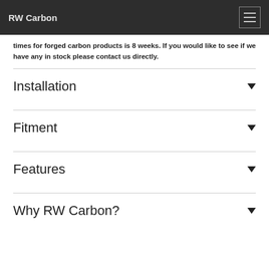RW Carbon
times for forged carbon products is 8 weeks. If you would like to see if we have any in stock please contact us directly.
Installation
Fitment
Features
Why RW Carbon?